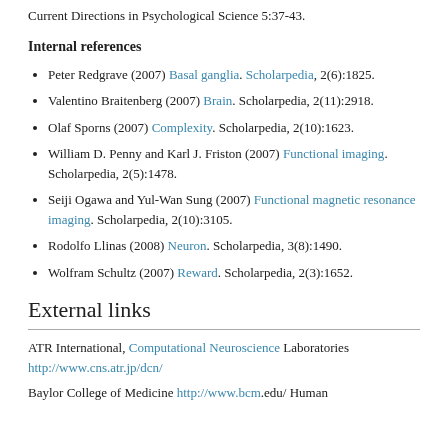Current Directions in Psychological Science 5:37-43.
Internal references
Peter Redgrave (2007) Basal ganglia. Scholarpedia, 2(6):1825.
Valentino Braitenberg (2007) Brain. Scholarpedia, 2(11):2918.
Olaf Sporns (2007) Complexity. Scholarpedia, 2(10):1623.
William D. Penny and Karl J. Friston (2007) Functional imaging. Scholarpedia, 2(5):1478.
Seiji Ogawa and Yul-Wan Sung (2007) Functional magnetic resonance imaging. Scholarpedia, 2(10):3105.
Rodolfo Llinas (2008) Neuron. Scholarpedia, 3(8):1490.
Wolfram Schultz (2007) Reward. Scholarpedia, 2(3):1652.
External links
ATR International, Computational Neuroscience Laboratories http://www.cns.atr.jp/dcn/
Baylor College of Medicine http://www.bcm.edu/ Human